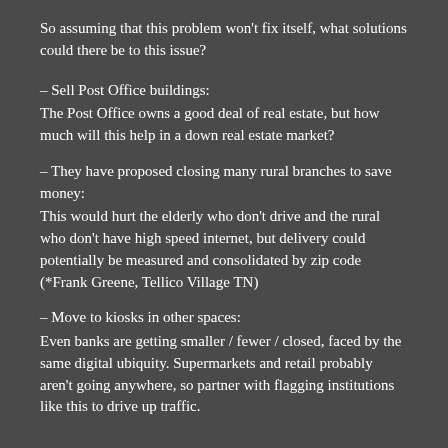So assuming that this problem won't fix itself, what solutions could there be to this issue?
– Sell Post Office buildings:
The Post Office owns a good deal of real estate, but how much will this help in a down real estate market?
– They have proposed closing many rural branches to save money:
This would hurt the elderly who don't drive and the rural who don't have high speed internet, but delivery could potentially be measured and consolidated by zip code (*Frank Greene, Tellico Village TN)
– Move to kiosks in other spaces:
Even banks are getting smaller / fewer / closed, faced by the same digital ubiquity. Supermarkets and retail probably aren't going anywhere, so partner with flagging institutions like this to drive up traffic.